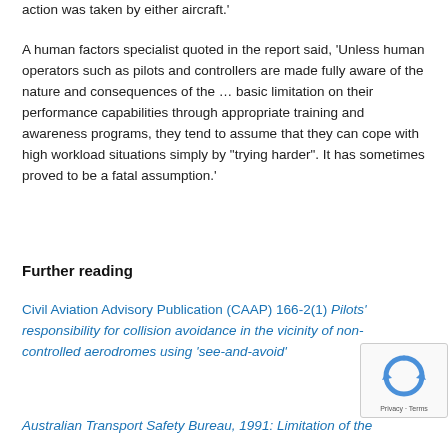action was taken by either aircraft.'
A human factors specialist quoted in the report said, ‘Unless human operators such as pilots and controllers are made fully aware of the nature and consequences of the … basic limitation on their performance capabilities through appropriate training and awareness programs, they tend to assume that they can cope with high workload situations simply by “trying harder”. It has sometimes proved to be a fatal assumption.’
Further reading
Civil Aviation Advisory Publication (CAAP) 166-2(1) Pilots’ responsibility for collision avoidance in the vicinity of non-controlled aerodromes using ‘see-and-avoid’
Australian Transport Safety Bureau, 1991: Limitation of the